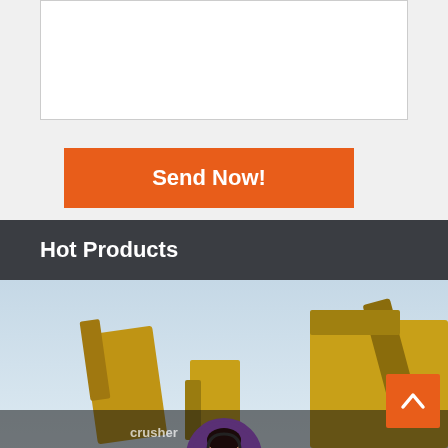[Figure (screenshot): White textarea input box for message entry]
Send Now!
Hot Products
[Figure (photo): Yellow construction machinery / crusher equipment against a light sky background]
Leave Message
Chat Online